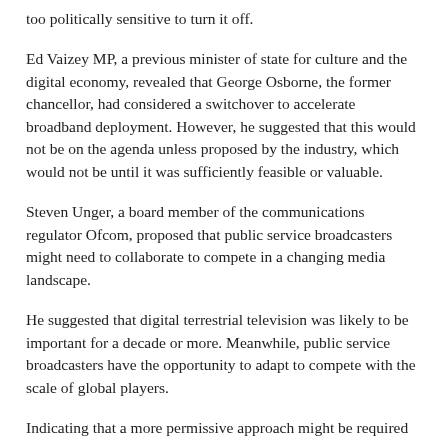too politically sensitive to turn it off.
Ed Vaizey MP, a previous minister of state for culture and the digital economy, revealed that George Osborne, the former chancellor, had considered a switchover to accelerate broadband deployment. However, he suggested that this would not be on the agenda unless proposed by the industry, which would not be until it was sufficiently feasible or valuable.
Steven Unger, a board member of the communications regulator Ofcom, proposed that public service broadcasters might need to collaborate to compete in a changing media landscape.
He suggested that digital terrestrial television was likely to be important for a decade or more. Meanwhile, public service broadcasters have the opportunity to adapt to compete with the scale of global players.
Indicating that a more permissive approach might be required